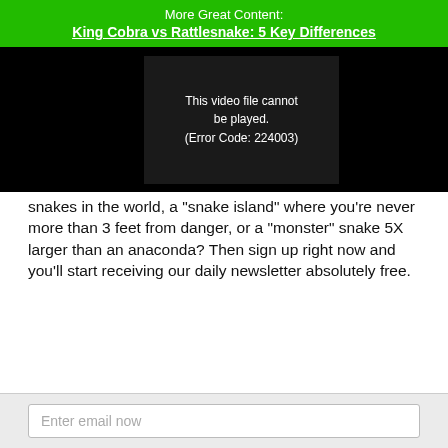More Great Content:
King Cobra vs Rattlesnake: 5 Key Differences
[Figure (screenshot): Video player showing error: This video file cannot be played. (Error Code: 224003)]
snakes in the world, a "snake island" where you're never more than 3 feet from danger, or a "monster" snake 5X larger than an anaconda? Then sign up right now and you'll start receiving our daily newsletter absolutely free.
Enter email now